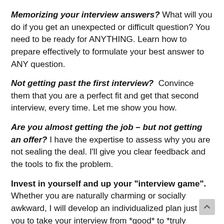Memorizing your interview answers? What will you do if you get an unexpected or difficult question? You need to be ready for ANYTHING. Learn how to prepare effectively to formulate your best answer to ANY question.
Not getting past the first interview? Convince them that you are a perfect fit and get that second interview, every time. Let me show you how.
Are you almost getting the job – but not getting an offer? I have the expertise to assess why you are not sealing the deal. I'll give you clear feedback and the tools to fix the problem.
Invest in yourself and up your "interview game". Whether you are naturally charming or socially awkward, I will develop an individualized plan just for you to take your interview from *good* to *truly impressive*.
Don't waste your shot at success. Get personalized expert